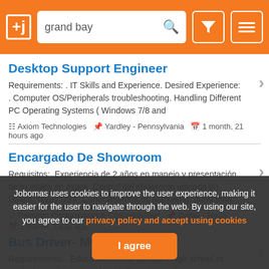+j | grand bay [search bar with filter and menu icons]
Desktop Support Engineer
Requirements: . IT Skills and Experience. Desired Experience: . Computer OS/Peripherals troubleshooting. Handling Different PC Operating Systems ( Windows 7/8 and
Axiom Technologies  Yardley - Pennsylvania  1 month, 21 hours ago
Encargado De Showroom
Requisitos:. Experiencia de 2 años en manejo y presentación de muebles en expos. Control del showroom ubicado en Dallas, Texas USA. Conocimientos de Marketing, publicidad,
Peimbert Productividad & Competitividad  Dallas - Texas  1 month, 1 day ago
Bus Driver- MCPS
Requirements: . Education from a standard high school or equivalency diploma preferred. Experience - Have
Jobomas uses cookies to improve the user experience, making it easier for the user to navigate through the web. By using our site, you agree to our privacy policy and accept using cookies
I agree